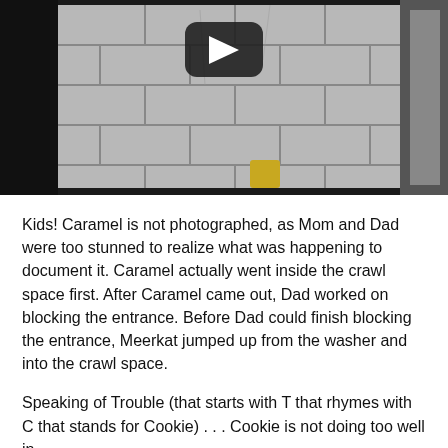[Figure (screenshot): Video thumbnail showing a crawl space with concrete block walls and a dark background. A YouTube-style play button (dark rounded rectangle with white triangle) is centered in the upper portion of the image.]
Kids! Caramel is not photographed, as Mom and Dad were too stunned to realize what was happening to document it. Caramel actually went inside the crawl space first. After Caramel came out, Dad worked on blocking the entrance. Before Dad could finish blocking the entrance, Meerkat jumped up from the washer and into the crawl space.
Speaking of Trouble (that starts with T that rhymes with C that stands for Cookie) ... Cookie is not doing too well in